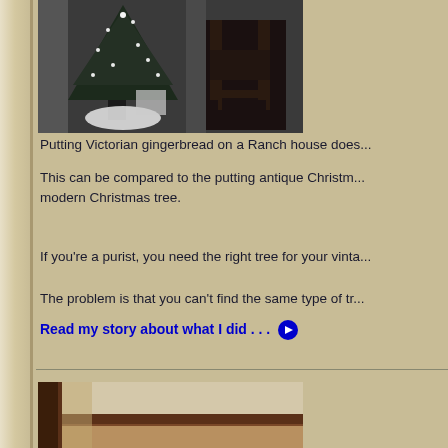[Figure (photo): Black and white photograph of a Christmas tree with lights and ornaments, placed outdoors or in a room with a wooden chair visible to the right]
Putting Victorian gingerbread on a Ranch house does...
This can be compared to the putting antique Christm... modern Christmas tree.
If you’re a purist, you need the right tree for your vinta...
The problem is that you can’t find the same type of tr...
Read my story about what I did . . . ➡
[Figure (photo): Partial color photograph showing wooden trim or molding detail of a house interior or exterior, cropped at bottom of page]